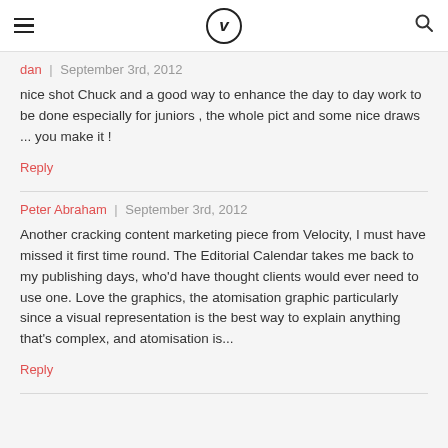Velocity logo, hamburger menu, search icon
dan | September 3rd, 2012
nice shot Chuck and a good way to enhance the day to day work to be done especially for juniors , the whole pict and some nice draws ... you make it !
Reply
Peter Abraham | September 3rd, 2012
Another cracking content marketing piece from Velocity, I must have missed it first time round. The Editorial Calendar takes me back to my publishing days, who'd have thought clients would ever need to use one. Love the graphics, the atomisation graphic particularly since a visual representation is the best way to explain anything that's complex, and atomisation is...
Reply